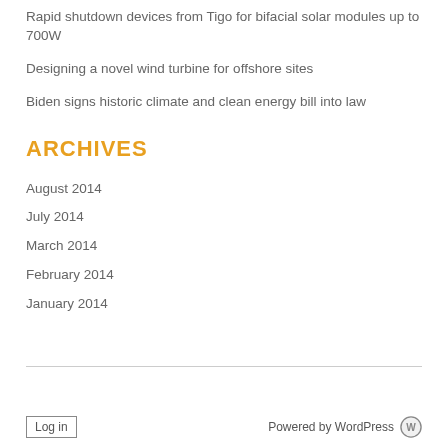Rapid shutdown devices from Tigo for bifacial solar modules up to 700W
Designing a novel wind turbine for offshore sites
Biden signs historic climate and clean energy bill into law
ARCHIVES
August 2014
July 2014
March 2014
February 2014
January 2014
Log in   Powered by WordPress